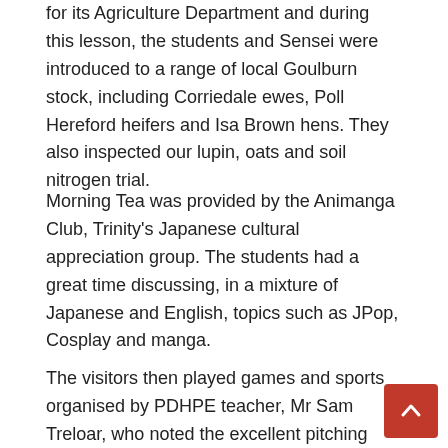for its Agriculture Department and during this lesson, the students and Sensei were introduced to a range of local Goulburn stock, including Corriedale ewes, Poll Hereford heifers and Isa Brown hens. They also inspected our lupin, oats and soil nitrogen trial.
Morning Tea was provided by the Animanga Club, Trinity's Japanese cultural appreciation group. The students had a great time discussing, in a mixture of Japanese and English, topics such as JPop, Cosplay and manga.
The visitors then played games and sports organised by PDHPE teacher, Mr Sam Treloar, who noted the excellent pitching arms of the Japanese students. This was followed by involvement in a junior Geography class, wherein the Trinity students talked about the Rainbow Serpent and the Shiba-inu visit was instructed by...